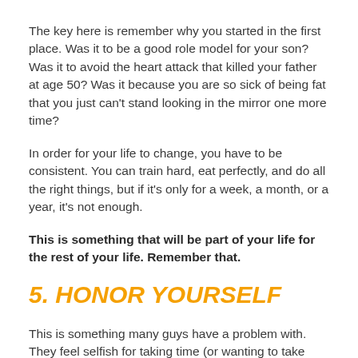The key here is remember why you started in the first place. Was it to be a good role model for your son? Was it to avoid the heart attack that killed your father at age 50? Was it because you are so sick of being fat that you just can't stand looking in the mirror one more time?
In order for your life to change, you have to be consistent. You can train hard, eat perfectly, and do all the right things, but if it's only for a week, a month, or a year, it's not enough.
This is something that will be part of your life for the rest of your life. Remember that.
5. HONOR YOURSELF
This is something many guys have a problem with. They feel selfish for taking time (or wanting to take time) to